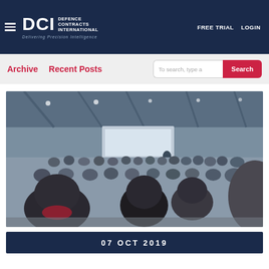DCI Defence Contracts International — Delivering Precision Intelligence | FREE TRIAL | LOGIN
Archive   Recent Posts
[Figure (photo): Conference/seminar scene in a large hall with many attendees seated facing a presenter at a screen, viewed from behind the audience.]
07 OCT 2019